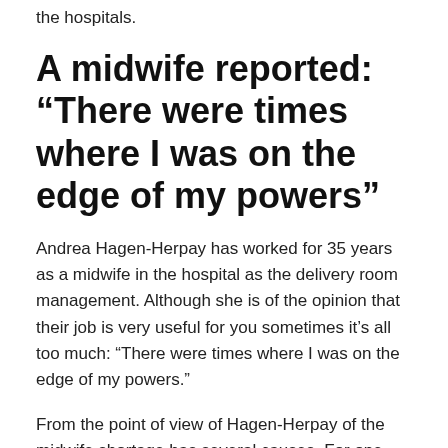the hospitals.
A midwife reported: “There were times where I was on the edge of my powers”
Andrea Hagen-Herpay has worked for 35 years as a midwife in the hospital as the delivery room management. Although she is of the opinion that their job is very useful for you sometimes it’s all too much: “There were times where I was on the edge of my powers.”
From the point of view of Hagen-Herpay of the midwife shortage has several causes. For one, more children are born. While in the 2000s the number of births declined in Germany steadily increased from 2012 to 2016, according to the Federal statistical office, again. Only in the year 2017, it decreased